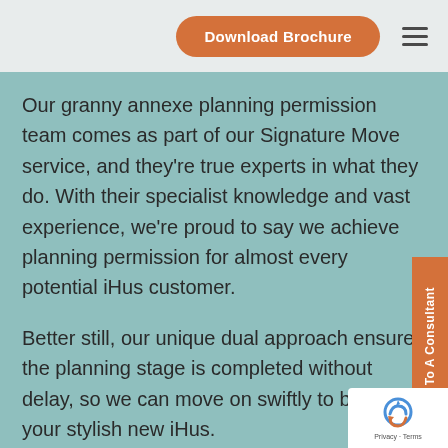Download Brochure
Our granny annexe planning permission team comes as part of our Signature Move service, and they're true experts in what they do. With their specialist knowledge and vast experience, we're proud to say we achieve planning permission for almost every potential iHus customer.
Better still, our unique dual approach ensures the planning stage is completed without delay, so we can move on swiftly to building your stylish new iHus.